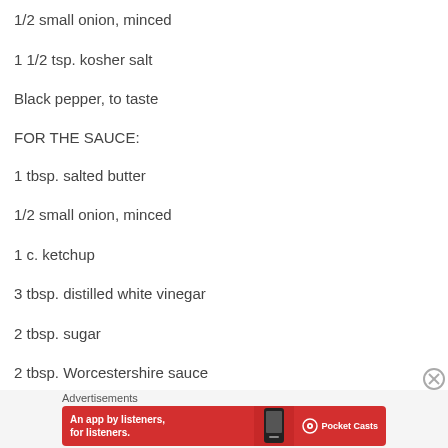1/2 small onion, minced
1 1/2 tsp. kosher salt
Black pepper, to taste
FOR THE SAUCE:
1 tbsp. salted butter
1/2 small onion, minced
1 c. ketchup
3 tbsp. distilled white vinegar
2 tbsp. sugar
2 tbsp. Worcestershire sauce
Dash of hot sauce
[Figure (screenshot): Advertisement banner: Pocket Casts app ad with text 'An app by listeners, for listeners.' on a red background with app phone image and Pocket Casts logo]